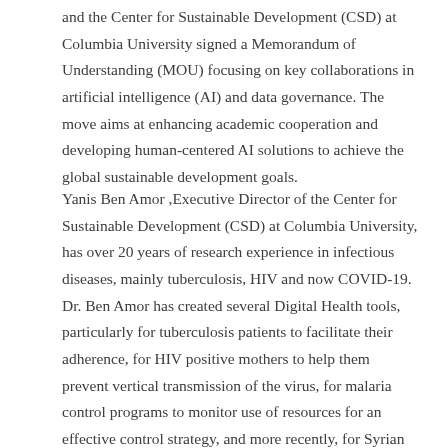and the Center for Sustainable Development (CSD) at Columbia University signed a Memorandum of Understanding (MOU) focusing on key collaborations in artificial intelligence (AI) and data governance. The move aims at enhancing academic cooperation and developing human-centered AI solutions to achieve the global sustainable development goals.
Yanis Ben Amor ,Executive Director of the Center for Sustainable Development (CSD) at Columbia University, has over 20 years of research experience in infectious diseases, mainly tuberculosis, HIV and now COVID-19. Dr. Ben Amor has created several Digital Health tools, particularly for tuberculosis patients to facilitate their adherence, for HIV positive mothers to help them prevent vertical transmission of the virus, for malaria control programs to monitor use of resources for an effective control strategy, and more recently, for Syrian refugees in Turkey, Lebanon and Jordan to provide health information and healthcare access. He has shown great